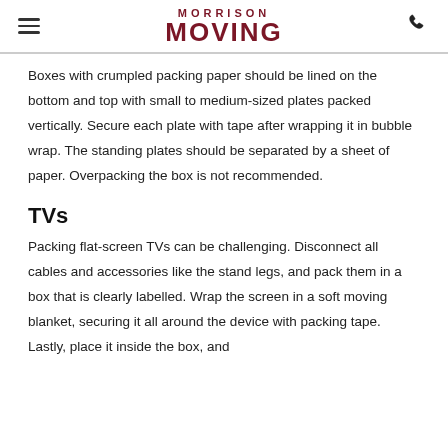MORRISON MOVING
Boxes with crumpled packing paper should be lined on the bottom and top with small to medium-sized plates packed vertically. Secure each plate with tape after wrapping it in bubble wrap. The standing plates should be separated by a sheet of paper. Overpacking the box is not recommended.
TVs
Packing flat-screen TVs can be challenging. Disconnect all cables and accessories like the stand legs, and pack them in a box that is clearly labelled. Wrap the screen in a soft moving blanket, securing it all around the device with packing tape. Lastly, place it inside the box, and